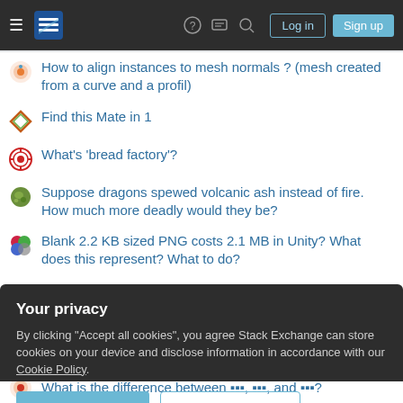[Figure (screenshot): Stack Exchange website navigation bar with hamburger menu, SE logo, help/chat/search icons, Log in and Sign up buttons]
How to align instances to mesh normals ? (mesh created from a curve and a profil)
Find this Mate in 1
What's 'bread factory'?
Suppose dragons spewed volcanic ash instead of fire. How much more deadly would they be?
Blank 2.2 KB sized PNG costs 2.1 MB in Unity? What does this represent? What to do?
Is it legal to accidentally hunt on private property?
How to share authorship in a 2-author paper where both contributed equally
Your privacy
By clicking "Accept all cookies", you agree Stack Exchange can store cookies on your device and disclose information in accordance with our Cookie Policy.
[Accept all cookies] [Customize settings]
What is the difference between ▪▪▪, ▪▪▪, and ▪▪▪?